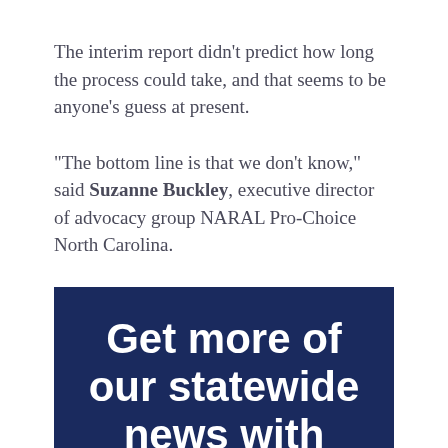The interim report didn't predict how long the process could take, and that seems to be anyone's guess at present.
“The bottom line is that we don’t know,” said Suzanne Buckley, executive director of advocacy group NARAL Pro-Choice North Carolina.
Get more of our statewide news with impact.